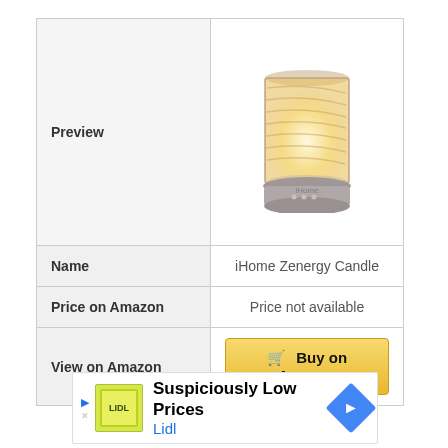|  |  |
| --- | --- |
| Preview | [iHome Zenergy Candle product image] |
| Name | iHome Zenergy Candle |
| Price on Amazon | Price not available |
| View on Amazon | Buy on Amazon |
[Figure (other): Advertisement banner for Lidl with text 'Suspiciously Low Prices' and Lidl logo, with a blue diamond-shaped arrow icon]